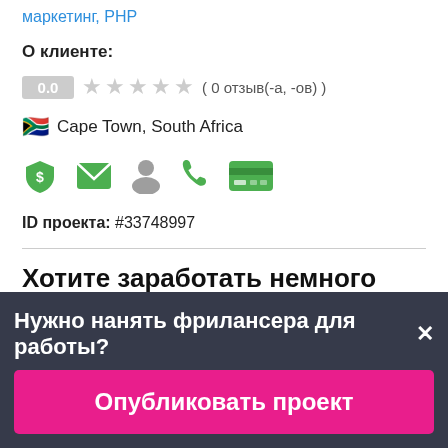маркетинг, PHP
О клиенте:
0.0  ★★★★★ ( 0 отзыв(-а, -ов) )
🇿🇦 Cape Town, South Africa
[Figure (infographic): Row of 5 icons: green shield with dollar, green envelope, grey person, green phone, green credit card]
ID проекта: #33748997
Хотите заработать немного денег?
ПРОЕКТ ЗАКРЫТ
Нужно нанять фрилансера для работы?×
Опубликовать проект